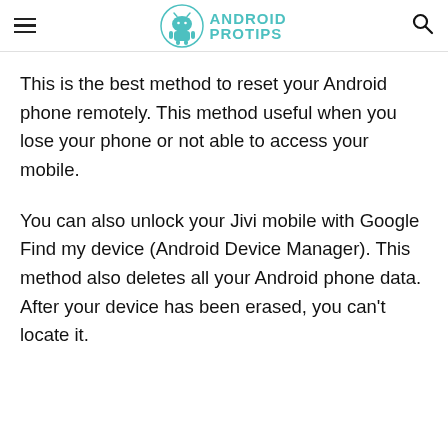ANDROID PROTIPS
This is the best method to reset your Android phone remotely. This method useful when you lose your phone or not able to access your mobile.
You can also unlock your Jivi mobile with Google Find my device (Android Device Manager). This method also deletes all your Android phone data. After your device has been erased, you can't locate it.